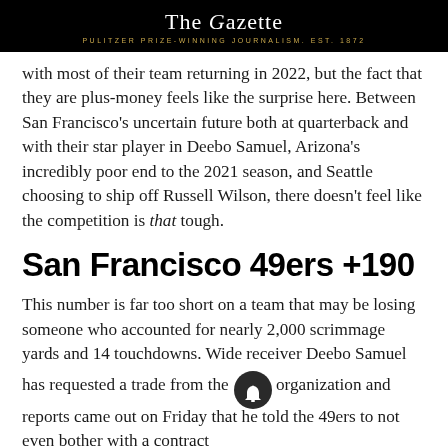The Gazette — PULITZER PRIZE-WINNING JOURNALISM. EST. 1872
with most of their team returning in 2022, but the fact that they are plus-money feels like the surprise here. Between San Francisco's uncertain future both at quarterback and with their star player in Deebo Samuel, Arizona's incredibly poor end to the 2021 season, and Seattle choosing to ship off Russell Wilson, there doesn't feel like the competition is that tough.
San Francisco 49ers +190
This number is far too short on a team that may be losing someone who accounted for nearly 2,000 scrimmage yards and 14 touchdowns. Wide receiver Deebo Samuel has requested a trade from the organization and reports came out on Friday that he told the 49ers to not even bother with a contract